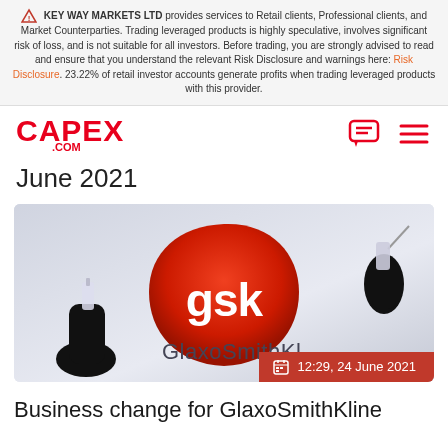KEY WAY MARKETS LTD provides services to Retail clients, Professional clients, and Market Counterparties. Trading leveraged products is highly speculative, involves significant risk of loss, and is not suitable for all investors. Before trading, you are strongly advised to read and ensure that you understand the relevant Risk Disclosure and warnings here: Risk Disclosure. 23.22% of retail investor accounts generate profits when trading leveraged products with this provider.
[Figure (logo): CAPEX.com logo in red]
June 2021
[Figure (photo): GSK GlaxoSmithKline logo with medical hands holding vial and syringe, date badge showing 12:29, 24 June 2021]
Business change for GlaxoSmithKline